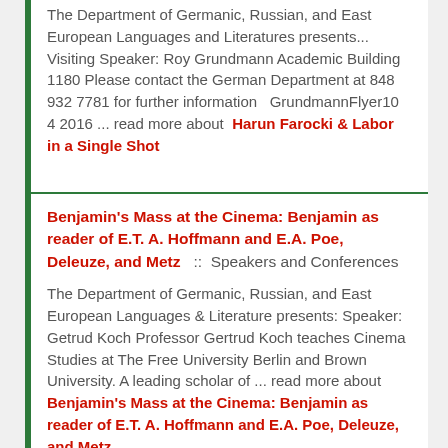The Department of Germanic, Russian, and East European Languages and Literatures presents... Visiting Speaker: Roy Grundmann Academic Building 1180 Please contact the German Department at 848 932 7781 for further information   GrundmannFlyer10 4 2016 ... read more about  Harun Farocki & Labor in a Single Shot
Benjamin's Mass at the Cinema: Benjamin as reader of E.T. A. Hoffmann and E.A. Poe, Deleuze, and Metz    ::  Speakers and Conferences
The Department of Germanic, Russian, and East European Languages & Literature presents: Speaker: Getrud Koch Professor Gertrud Koch teaches Cinema Studies at The Free University Berlin and Brown University. A leading scholar of ... read more about Benjamin's Mass at the Cinema: Benjamin as reader of E.T. A. Hoffmann and E.A. Poe, Deleuze, and Metz